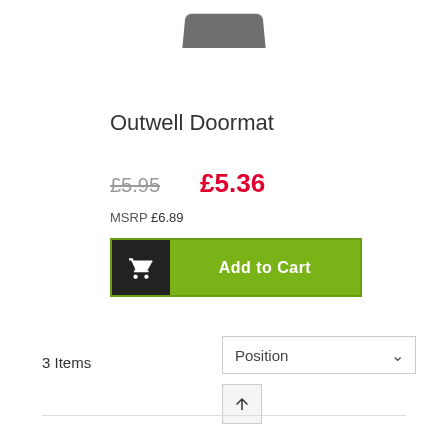[Figure (photo): Partial view of a dark doormat product image at the top of the page]
Outwell Doormat
£5.95 (strikethrough) £5.36 (sale price in red)
MSRP £6.89
Add to Cart
3 Items
Position (sort dropdown)